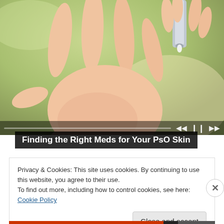[Figure (photo): Close-up photo of a hand with palm open, and another hand squeezing cream/ointment from a tube onto the palm. Background is blurred green/outdoor setting.]
Finding the Right Meds for Your PsO Skin
Privacy & Cookies: This site uses cookies. By continuing to use this website, you agree to their use.
To find out more, including how to control cookies, see here: Cookie Policy